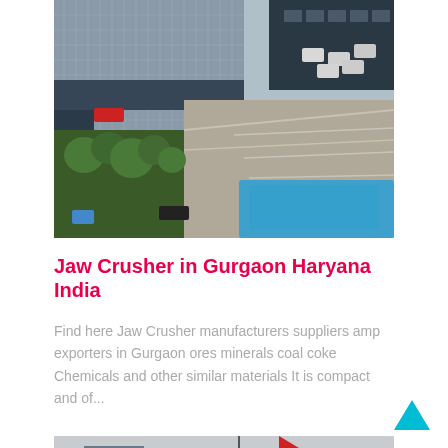[Figure (photo): Aerial view of an industrial facility with warehouse buildings, solar panels on roof, trucks and parking area, trees on the left side.]
Jaw Crusher in Gurgaon Haryana India
Find here Jaw Crusher manufacturers suppliers amp exporters in Gurgaon ores minerals coal coke Chemicals and other similar materials It is compact and of...
[Figure (photo): Partial view of an industrial crane or equipment against a grey sky with a red flag/banner visible.]